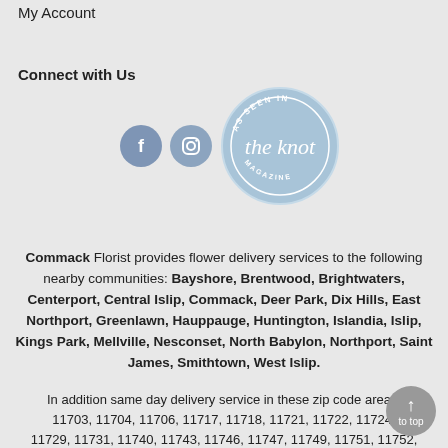My Account
Connect with Us
[Figure (logo): Facebook circle icon, Instagram circle icon, and 'As Seen In the knot MAGAZINE' circular badge in light blue]
Commack Florist provides flower delivery services to the following nearby communities: Bayshore, Brentwood, Brightwaters, Centerport, Central Islip, Commack, Deer Park, Dix Hills, East Northport, Greenlawn, Hauppauge, Huntington, Islandia, Islip, Kings Park, Mellville, Nesconset, North Babylon, Northport, Saint James, Smithtown, West Islip.
In addition same day delivery service in these zip code areas: 11703, 11704, 11706, 11717, 11718, 11721, 11722, 11724, 11729, 11731, 11740, 11743, 11746, 11747, 11749, 11751, 11752, 11754, 11767, 11768, 11780, 11787, 11788, 11795, 11797